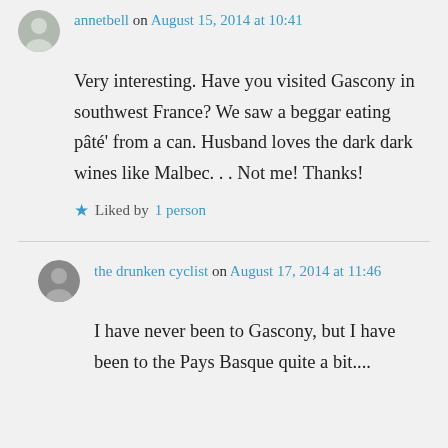annetbell on August 15, 2014 at 10:41
Very interesting. Have you visited Gascony in southwest France? We saw a beggar eating pâté' from a can. Husband loves the dark dark wines like Malbec. . . Not me! Thanks!
Liked by 1 person
the drunken cyclist on August 17, 2014 at 11:46
I have never been to Gascony, but I have been to the Pays Basque quite a bit....